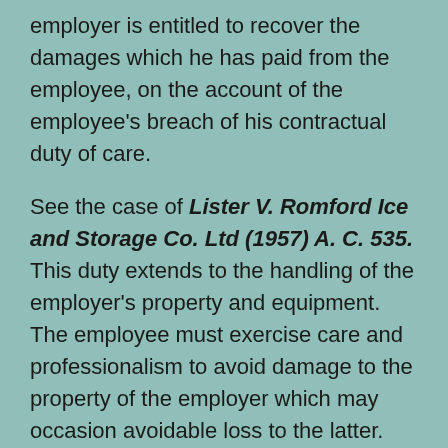employer is entitled to recover the damages which he has paid from the employee, on the account of the employee's breach of his contractual duty of care.
See the case of Lister V. Romford Ice and Storage Co. Ltd (1957) A. C. 535. This duty extends to the handling of the employer's property and equipment. The employee must exercise care and professionalism to avoid damage to the property of the employer which may occasion avoidable loss to the latter.
In other words, the employee is expected to discharge his contractual duties in...